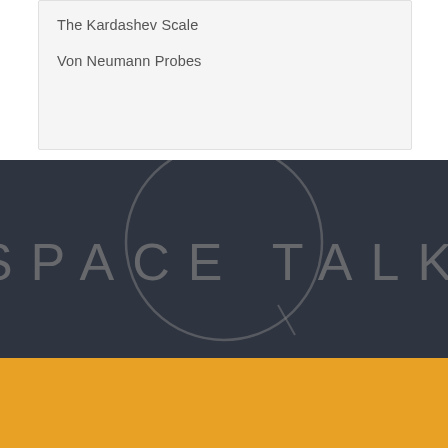The Kardashev Scale
Von Neumann Probes
[Figure (logo): Space Talk blog logo: dark navy background with a large circular arc graphic and the text SPACE TALK in large thin letterforms across the center]
Spacetalkblog
Follow Space Talk B
Twitter
Linkedin